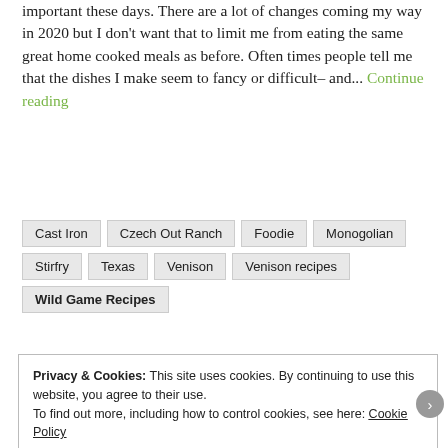important these days. There are a lot of changes coming my way in 2020 but I don't want that to limit me from eating the same great home cooked meals as before. Often times people tell me that the dishes I make seem to fancy or difficult– and... Continue reading
Cast Iron
Czech Out Ranch
Foodie
Monogolian
Stirfry
Texas
Venison
Venison recipes
Wild Game Recipes
Privacy & Cookies: This site uses cookies. By continuing to use this website, you agree to their use. To find out more, including how to control cookies, see here: Cookie Policy